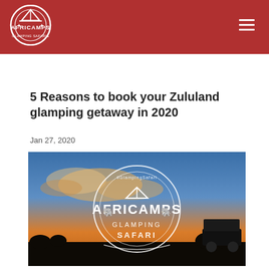[Figure (logo): AfriCamps logo — circular badge with tent and text AFRICAMPS on dark red header background]
5 Reasons to book your Zululand glamping getaway in 2020
Jan 27, 2020
[Figure (photo): Safari sunset photo with AfriCamps Glamping Safari circular logo overlaid in white. Shows a dark silhouette of a safari vehicle and trees against a vivid orange and blue sky.]